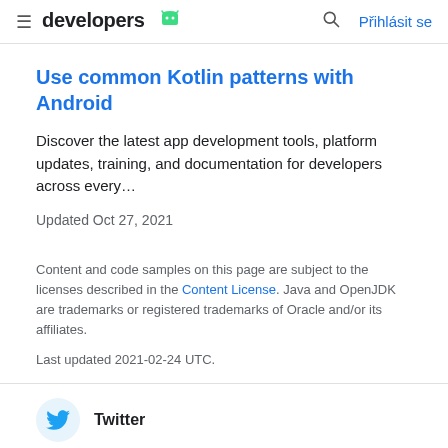developers  [Android logo]  [search icon]  Přihlásit se
Use common Kotlin patterns with Android
Discover the latest app development tools, platform updates, training, and documentation for developers across every…
Updated Oct 27, 2021
Content and code samples on this page are subject to the licenses described in the Content License. Java and OpenJDK are trademarks or registered trademarks of Oracle and/or its affiliates.
Last updated 2021-02-24 UTC.
Twitter